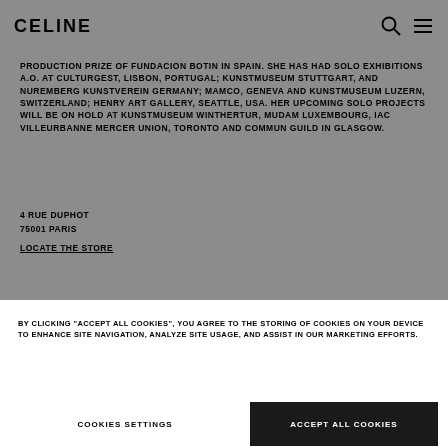CELINE
PRODUCTION PRIZE OF FUNDACION BOTIN IN SPAIN. SHE HAS HAD SOLO EXHIBITIONS A.O. AT CULTURGEST, LISBON, PORTUGAL; KUNSTMUSEUM STUTTGART, AND NUREMBERG KUNSTVEREIN GERMANY; MAMCO, GENEVA AND KUNSTMUSEUM LUZERN, SWITZERLAND; HENRY ART GALLERY, SEATTLE, USA. HER UPCOMING SOLO PROJECTS WILL BE ON HOLD AT KUNSTMUSEUM WINTHERTUR, MUDAM LUXEMBOURG, IAC VILLEURBANNE MERCER UNION, TORONTO AND COMMUN GUILD IN GLASGOW.
4 RUE DUPHOT
75001 PARIS
LOCATE THE STORE
BY CLICKING "ACCEPT ALL COOKIES", YOU AGREE TO THE STORING OF COOKIES ON YOUR DEVICE TO ENHANCE SITE NAVIGATION, ANALYZE SITE USAGE, AND ASSIST IN OUR MARKETING EFFORTS.
COOKIES SETTINGS
ACCEPT ALL COOKIES